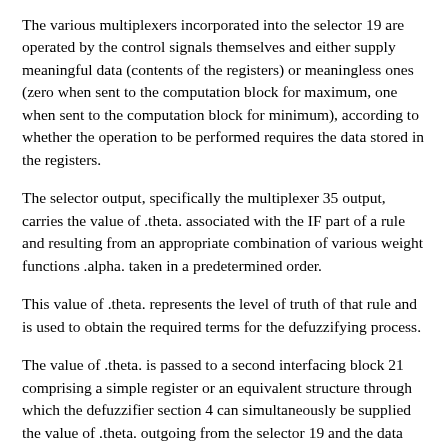The various multiplexers incorporated into the selector 19 are operated by the control signals themselves and either supply meaningful data (contents of the registers) or meaningless ones (zero when sent to the computation block for maximum, one when sent to the computation block for minimum), according to whether the operation to be performed requires the data stored in the registers.
The selector output, specifically the multiplexer 35 output, carries the value of .theta. associated with the IF part of a rule and resulting from an appropriate combination of various weight functions .alpha. taken in a predetermined order.
This value of .theta. represents the level of truth of that rule and is used to obtain the required terms for the defuzzifying process.
The value of .theta. is passed to a second interfacing block 21 comprising a simple register or an equivalent structure through which the defuzzifier section 4 can simultaneously be supplied the value of .theta. outgoing from the selector 19 and the data related to the membership functions associated with the consequent part of the fuzzy rules, which are stored into a block 22 formed by a single logic memory block.
Let us review now the method for storing the membership